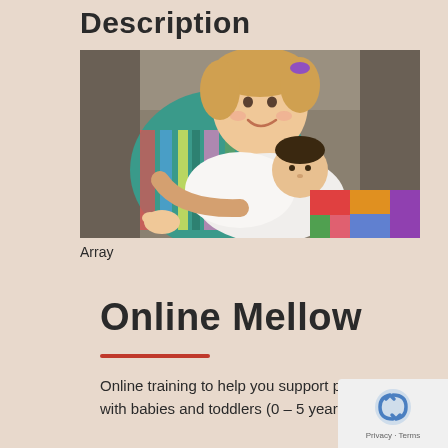Description
[Figure (photo): A young girl smiling and holding a newborn baby wrapped in white cloth, sitting in a grey chair with a colorful blanket visible]
Array
Online Mellow
Online training to help you support parents with babies and toddlers (0 – 5 years )